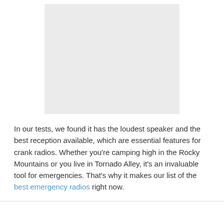[Figure (photo): Light grey placeholder rectangle representing a product image of an emergency crank radio]
In our tests, we found it has the loudest speaker and the best reception available, which are essential features for crank radios. Whether you're camping high in the Rocky Mountains or you live in Tornado Alley, it's an invaluable tool for emergencies. That's why it makes our list of the best emergency radios right now.